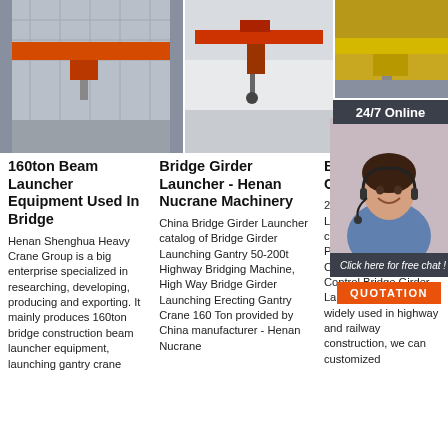[Figure (photo): Industrial bridge crane inside a large factory building, red/orange overhead crane]
[Figure (photo): Bridge girder launcher crane, red beam crane suspended from ceiling]
[Figure (photo): Yellow overhead crane in industrial setting]
160ton Beam Launcher Equipment Used In Bridge
Henan Shenghua Heavy Crane Group is a big enterprise specialized in researching, developing, producing and exporting. It mainly produces 160ton bridge construction beam launcher equipment, launching gantry crane
Bridge Girder Launcher - Henan Nucrane Machinery
China Bridge Girder Launcher catalog of Bridge Girder Launching Gantry 50-200t Highway Bridging Machine, High Way Bridge Girder Launching Erecting Gantry Crane 160 Ton provided by China manufacturer - Henan Nucrane
Beam Dowel Crane
2021-10-12u200b... Launcher 20-50 m capacity Control Mode: Pendant, Remote Control and Cabin Control Bridge Girder Launcher crane is widely used in highway and railway construction, we can customized
24/7 Online
Click here for free chat !
QUOTATION